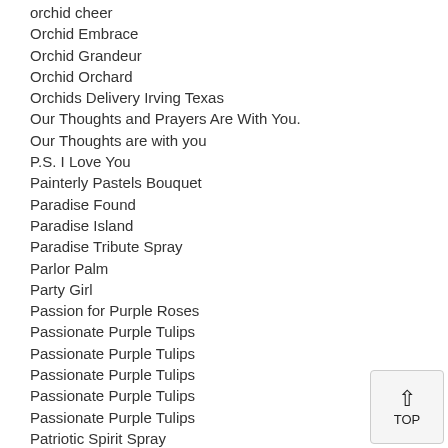orchid cheer
Orchid Embrace
Orchid Grandeur
Orchid Orchard
Orchids Delivery Irving Texas
Our Thoughts and Prayers Are With You.
Our Thoughts are with you
P.S. I Love You
Painterly Pastels Bouquet
Paradise Found
Paradise Island
Paradise Tribute Spray
Parlor Palm
Party Girl
Passion for Purple Roses
Passionate Purple Tulips
Passionate Purple Tulips
Passionate Purple Tulips
Passionate Purple Tulips
Passionate Purple Tulips
Patriotic Spirit Spray
Patriotic Spirit Wreath
Patriotic Tribute Funeral Wreath
Peace & Joy Bouquet
Peace & Joy Bouquet